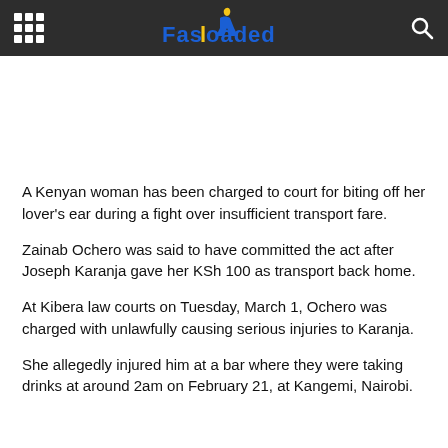Fasloaded
A Kenyan woman has been charged to court for biting off her lover's ear during a fight over insufficient transport fare.
Zainab Ochero was said to have committed the act after Joseph Karanja gave her KSh 100 as transport back home.
At Kibera law courts on Tuesday, March 1, Ochero was charged with unlawfully causing serious injuries to Karanja.
She allegedly injured him at a bar where they were taking drinks at around 2am on February 21, at Kangemi, Nairobi.